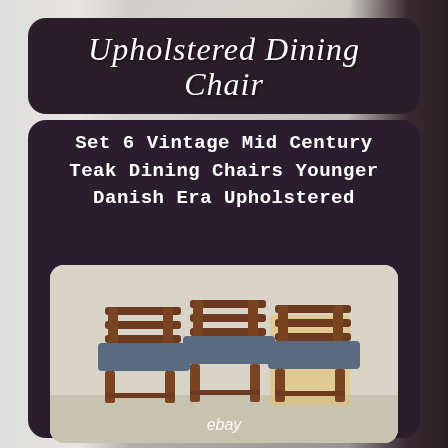Upholstered Dining Chair
Set 6 Vintage Mid Century Teak Dining Chairs Younger Danish Era Upholstered
[Figure (photo): Photo of six vintage mid-century teak dining chairs with blue upholstered seats, arranged in a group, with an eBay watermark at the bottom]
[Figure (photo): Partial bottom strip showing another photo below]